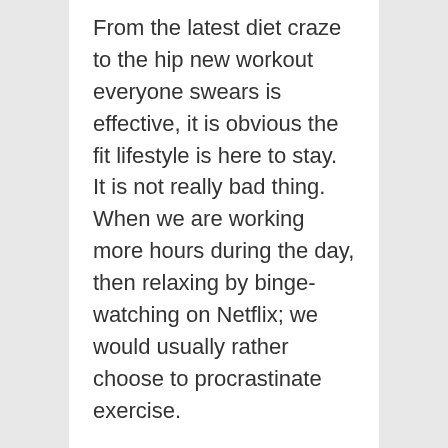From the latest diet craze to the hip new workout everyone swears is effective, it is obvious the fit lifestyle is here to stay. It is not really bad thing. When we are working more hours during the day, then relaxing by binge-watching on Netflix; we would usually rather choose to procrastinate exercise.
Then in comes FitBit, suddenly everyone counted steps and being all competitive with each other. FitBit is a wireless-enabled, top wearable technology that tracks your...